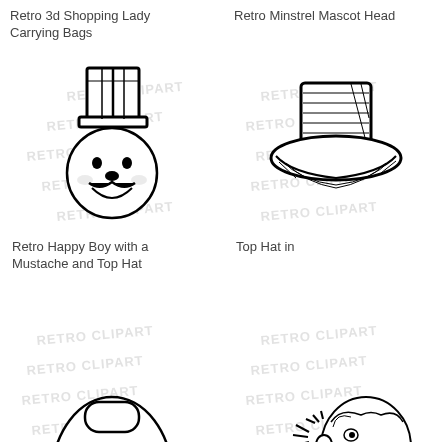Retro 3d Shopping Lady Carrying Bags
Retro Minstrel Mascot Head
[Figure (illustration): Retro cartoon illustration of a happy boy with a mustache wearing a top hat, black and white line art with RETRO CLIPART watermark]
Retro Happy Boy with a Mustache and Top Hat
[Figure (illustration): Illustration of a top hat, sketched in black ink with crosshatching, with RETRO CLIPART watermark]
Top Hat in
[Figure (illustration): Partial view of a retro cartoon illustration at bottom left, showing a rounded figure with a hat]
[Figure (illustration): Partial view of a retro cartoon illustration at bottom right, showing a person's head with motion lines indicating shock or surprise]